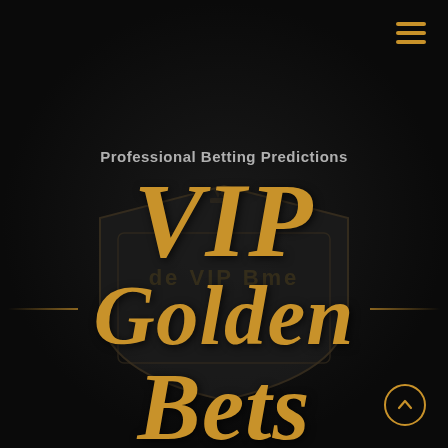[Figure (logo): VIP Golden Bets logo on dark background with gold text, shield emblem, hamburger menu icon top-right, and scroll-up button bottom-right. Subtitle reads 'Professional Betting Predictions'.]
Professional Betting Predictions
VIP Golden Bets